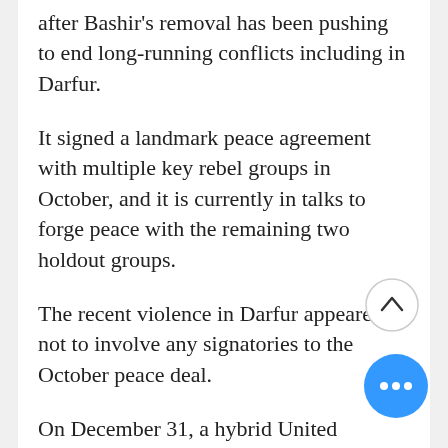after Bashir's removal has been pushing to end long-running conflicts including in Darfur.
It signed a landmark peace agreement with multiple key rebel groups in October, and it is currently in talks to forge peace with the remaining two holdout groups.
The recent violence in Darfur appeared not to involve any signatories to the October peace deal.
On December 31, a hybrid United Nations and African Union peacekeeping mission ended its operations in Darfur.